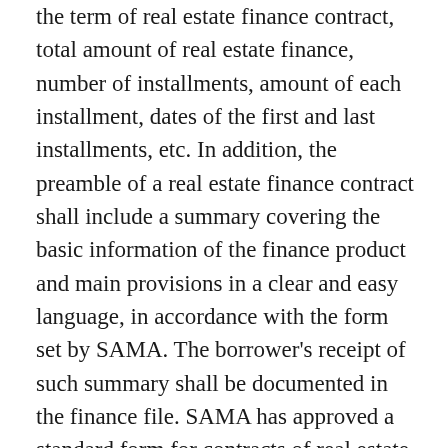the term of real estate finance contract, total amount of real estate finance, number of installments, amount of each installment, dates of the first and last installments, etc. In addition, the preamble of a real estate finance contract shall include a summary covering the basic information of the finance product and main provisions in a clear and easy language, in accordance with the form set by SAMA. The borrower's receipt of such summary shall be documented in the finance file. SAMA has approved a standard form for contracts of real estate finance for individuals, in the forms of Murabaha and Ijara. Through this, SAMA aims to increase transparency in contracts, achieve fairness among real estate financiers, and enhance rights of consumers and protect their interests.